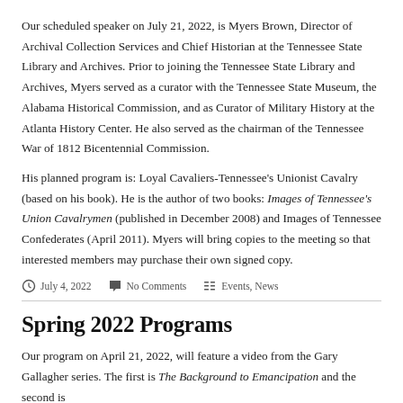Our scheduled speaker on July 21, 2022, is Myers Brown, Director of Archival Collection Services and Chief Historian at the Tennessee State Library and Archives. Prior to joining the Tennessee State Library and Archives, Myers served as a curator with the Tennessee State Museum, the Alabama Historical Commission, and as Curator of Military History at the Atlanta History Center. He also served as the chairman of the Tennessee War of 1812 Bicentennial Commission.
His planned program is: Loyal Cavaliers-Tennessee's Unionist Cavalry (based on his book). He is the author of two books: Images of Tennessee's Union Cavalrymen (published in December 2008) and Images of Tennessee Confederates (April 2011). Myers will bring copies to the meeting so that interested members may purchase their own signed copy.
July 4, 2022   No Comments   Events, News
Spring 2022 Programs
Our program on April 21, 2022, will feature a video from the Gary Gallagher series. The first is The Background to Emancipation and the second is